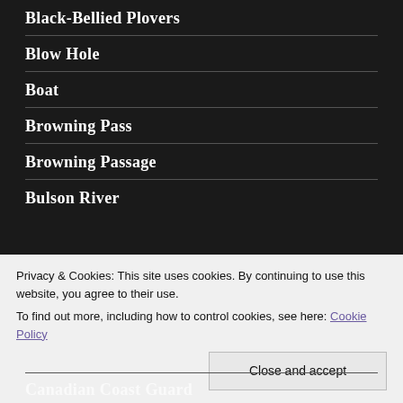Black-Bellied Plovers
Blow Hole
Boat
Browning Pass
Browning Passage
Bulson River
Privacy & Cookies: This site uses cookies. By continuing to use this website, you agree to their use.
To find out more, including how to control cookies, see here: Cookie Policy
Canadian Coast Guard